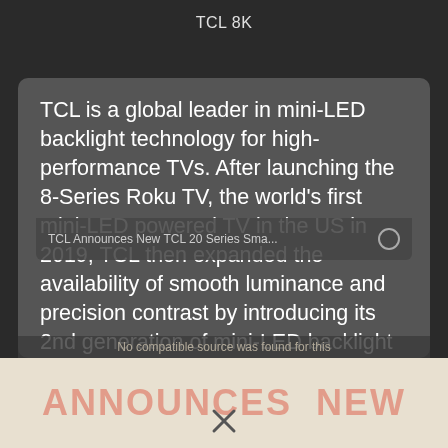TCL 8K
TCL is a global leader in mini-LED backlight technology for high-performance TVs. After launching the 8-Series Roku TV, the world's first mini-LED powered TV in the US in 2019, TCL then expanded the availability of smooth luminance and precision contrast by introducing its 2nd generation of mini-LED backlight technology on the powerful 6-Series line with Roku TV in 2020. A pioneer in delivering sharp contrast and brilliant brightness with mini-LEDs, TCL continues to take the lead in display innovation with its 3rd generation of mini-LED.
[Figure (screenshot): Bottom portion shows a video overlay bar reading 'TCL Announces New TCL 20 Series Sma...' with 'No compatible source was found for this' error message, and a banner below with 'ANNOUNCES' and 'NEW' text in red/salmon color on light background, with an X close button.]